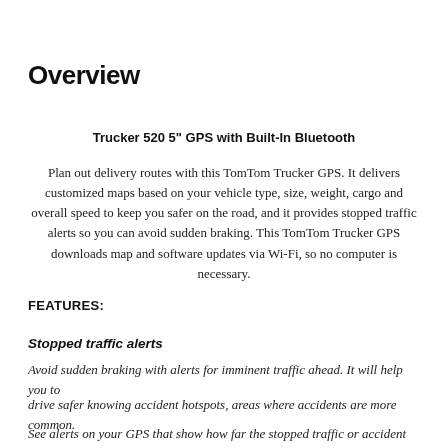Overview
Trucker 520 5" GPS with Built-In Bluetooth
Plan out delivery routes with this TomTom Trucker GPS. It delivers customized maps based on your vehicle type, size, weight, cargo and overall speed to keep you safer on the road, and it provides stopped traffic alerts so you can avoid sudden braking. This TomTom Trucker GPS downloads map and software updates via Wi-Fi, so no computer is necessary.
FEATURES:
Stopped traffic alerts
Avoid sudden braking with alerts for imminent traffic ahead. It will help you to
drive safer knowing accident hotspots, areas where accidents are more common.
See alerts on your GPS that show how far the stopped traffic or accident hotspots